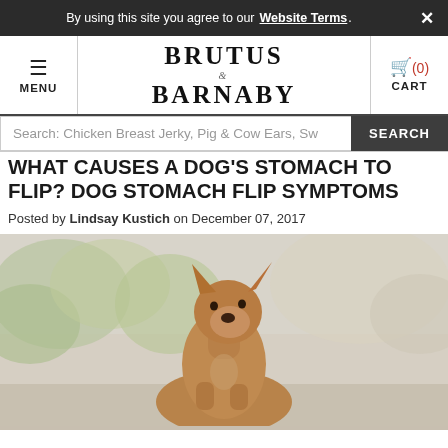By using this site you agree to our Website Terms. ×
BRUTUS & BARNABY — MENU — CART (0)
Search: Chicken Breast Jerky, Pig & Cow Ears, Sw  SEARCH
WHAT CAUSES A DOG'S STOMACH TO FLIP? DOG STOMACH FLIP SYMPTOMS
Posted by Lindsay Kustich on December 07, 2017
[Figure (photo): A tan/brown dog sitting upright with alert ears, photographed outdoors with a blurred green bokeh background. The dog appears to be a mixed breed, possibly a Rhodesian Ridgeback mix.]